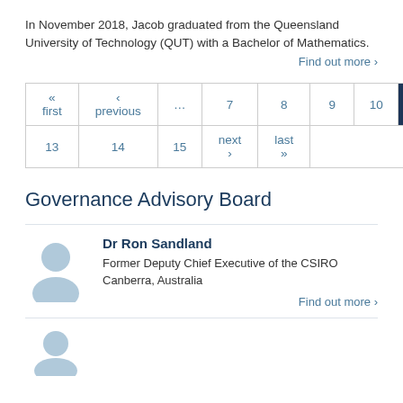In November 2018, Jacob graduated from the Queensland University of Technology (QUT) with a Bachelor of Mathematics.
Find out more ›
| « first | ‹ previous | … | 7 | 8 | 9 | 10 | 11 | 12 |
| --- | --- | --- | --- | --- | --- | --- | --- | --- |
| 13 | 14 | 15 | next › | last » |
Governance Advisory Board
[Figure (illustration): Placeholder avatar icon of a person silhouette in light blue]
Dr Ron Sandland
Former Deputy Chief Executive of the CSIRO
Canberra, Australia
Find out more ›